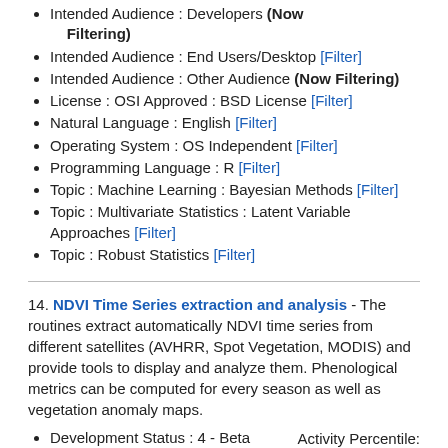Intended Audience : Developers (Now Filtering)
Intended Audience : End Users/Desktop [Filter]
Intended Audience : Other Audience (Now Filtering)
License : OSI Approved : BSD License [Filter]
Natural Language : English [Filter]
Operating System : OS Independent [Filter]
Programming Language : R [Filter]
Topic : Machine Learning : Bayesian Methods [Filter]
Topic : Multivariate Statistics : Latent Variable Approaches [Filter]
Topic : Robust Statistics [Filter]
14. NDVI Time Series extraction and analysis - The routines extract automatically NDVI time series from different satellites (AVHRR, Spot Vegetation, MODIS) and provide tools to display and analyze them. Phenological metrics can be computed for every season as well as vegetation anomaly maps.
Development Status : 4 - Beta [Filter]
Environment : Console (Text Based) [Filter]
Intended Audience : Developers (N...
Activity Percentile: 0.00
Registered: 2011-